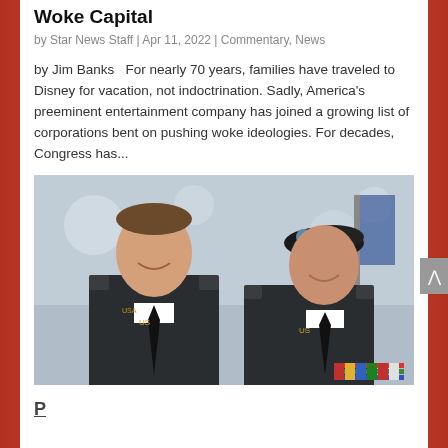Woke Capital
by Star News Staff | Apr 11, 2022 | Commentary, News
by Jim Banks   For nearly 70 years, families have traveled to Disney for vacation, not indoctrination. Sadly, America's preeminent entertainment company has joined a growing list of corporations bent on pushing woke ideologies. For decades, Congress has...
[Figure (photo): Two men in U.S. Army dress uniforms smiling at the camera at an event]
P